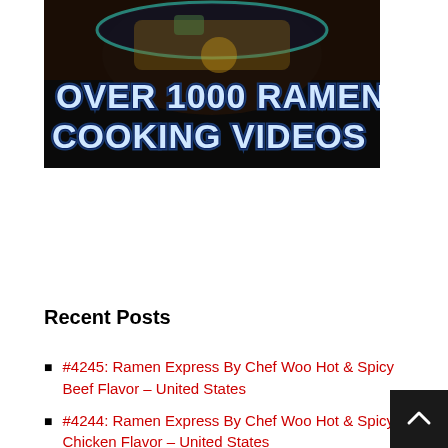[Figure (photo): Banner image showing a bowl of ramen noodles with text overlay reading 'OVER 1000 RAMEN COOKING VIDEOS' in large stylized blue/white text on a dark background]
Recent Posts
#4245: Ramen Express By Chef Woo Hot & Spicy Beef Flavor – United States
#4244: Ramen Express By Chef Woo Hot & Spicy Chicken Flavor – United States